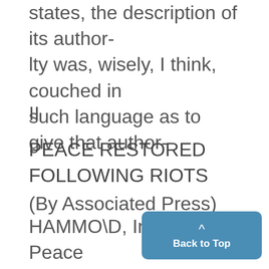states, the description of its authority was, wisely, I think, couched in such language as to give that author-
II
PEACE RESTORED FOLLOWING RIOTS
(By Associated Press)
HAMMO\D, Ind., July 25.-Peace was restored in Whiting today after| a series of violent outbreaks of fighting between groups of native a eign-born workmen in which m